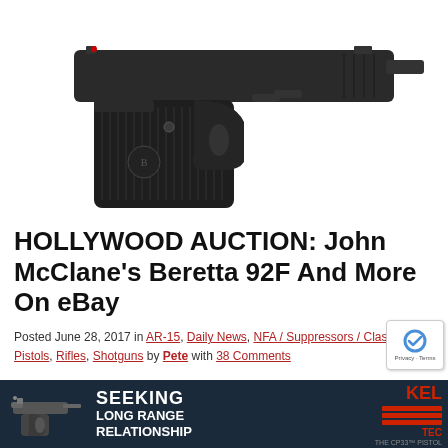[Figure (photo): Close-up photo of a Beretta 92F semi-automatic pistol against a white background, showing the slide, barrel, trigger guard, and grip.]
HOLLYWOOD AUCTION: John McClane's Beretta 92F And More On eBay
Posted June 28, 2017 in AR-15, Daily News, NFA / Suppressors / Class III, Pistols, Rifles, Shotguns by Pete with 38 Comments
It is the summer of 1989 and I'm a kid on a family vacation traveling through Silver the Colorado. Being a movie addict, Jones matine It
[Figure (advertisement): Kel-Tec advertisement banner with dark navy background showing a pistol and text 'SEEKING LONG RANGE RELATIONSHIP' with Kel-Tec logo and CP33 pistol branding.]